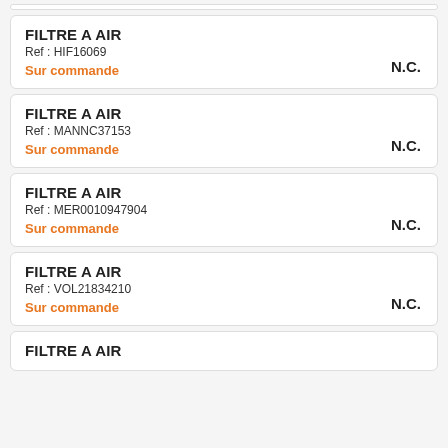FILTRE A AIR
Ref : HIF16069
Sur commande
N.C.
FILTRE A AIR
Ref : MANNC37153
Sur commande
N.C.
FILTRE A AIR
Ref : MER0010947904
Sur commande
N.C.
FILTRE A AIR
Ref : VOL21834210
Sur commande
N.C.
FILTRE A AIR